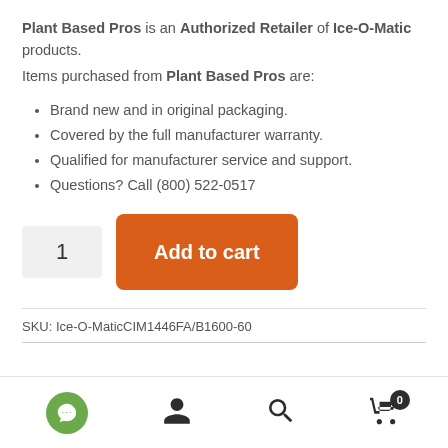Plant Based Pros is an Authorized Retailer of Ice-O-Matic products.
Items purchased from Plant Based Pros are:
Brand new and in original packaging.
Covered by the full manufacturer warranty.
Qualified for manufacturer service and support.
Questions? Call (800) 522-0517
1  Add to cart
SKU: Ice-O-MaticCIM1446FA/B1600-60